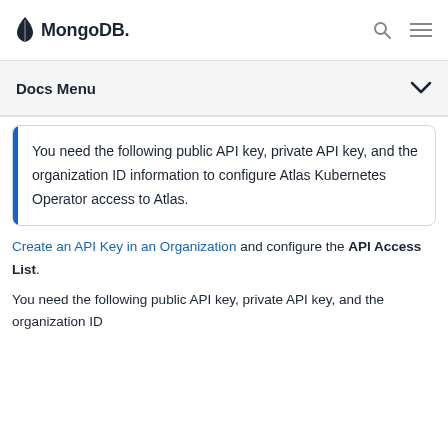MongoDB
Docs Menu
You need the following public API key, private API key, and the organization ID information to configure Atlas Kubernetes Operator access to Atlas.
Create an API Key in an Organization and configure the API Access List.
You need the following public API key, private API key, and the organization ID